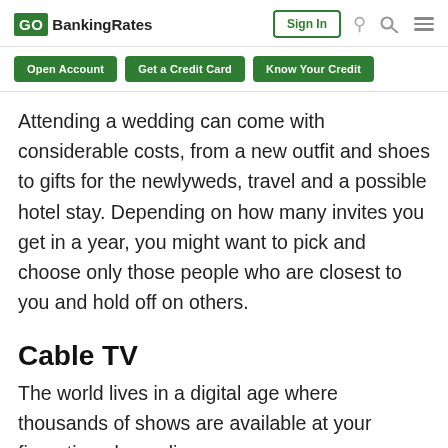GOBankingRates | Sign In
Open Account | Get a Credit Card | Know Your Credit
Attending a wedding can come with considerable costs, from a new outfit and shoes to gifts for the newlyweds, travel and a possible hotel stay. Depending on how many invites you get in a year, you might want to pick and choose only those people who are closest to you and hold off on others.
Cable TV
The world lives in a digital age where thousands of shows are available at your fingertips, depending on